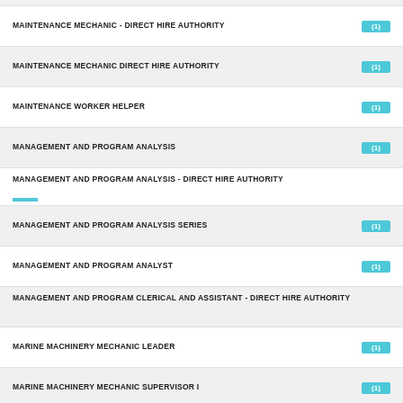MAINTENANCE MECHANIC - DIRECT HIRE AUTHORITY (1)
MAINTENANCE MECHANIC DIRECT HIRE AUTHORITY (1)
MAINTENANCE WORKER HELPER (1)
MANAGEMENT AND PROGRAM ANALYSIS (1)
MANAGEMENT AND PROGRAM ANALYSIS - DIRECT HIRE AUTHORITY
MANAGEMENT AND PROGRAM ANALYSIS SERIES (1)
MANAGEMENT AND PROGRAM ANALYST (1)
MANAGEMENT AND PROGRAM CLERICAL AND ASSISTANT - DIRECT HIRE AUTHORITY
MARINE MACHINERY MECHANIC LEADER (1)
MARINE MACHINERY MECHANIC SUPERVISOR I (1)
MASONRY - DIRECT HIRE AUTHORITY (1)
MATERIALS ENGINEER - DIRECT HIRE AUTHORITY (1)
MATERIALS ENGINEERING - DIRECT HIRE AUTHORITY (1)